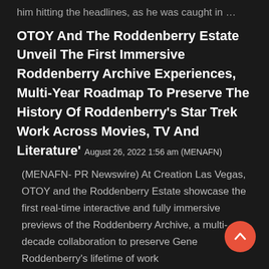him hitting the headlines, as he was caught in …
OTOY And The Roddenberry Estate Unveil The First Immersive Roddenberry Archive Experiences, Multi-Year Roadmap To Preserve The History Of Roddenberry's Star Trek Work Across Movies, TV And Literature'
August 26, 2022 1:56 am (MENAFN)
(MENAFN- PR Newswire) At Creation Las Vegas, OTOY and the Roddenberry Estate showcase the first real-time interactive and fully immersive previews of the Roddenberry Archive, a multi-decade collaboration to preserve Gene Roddenberry's lifetime of work